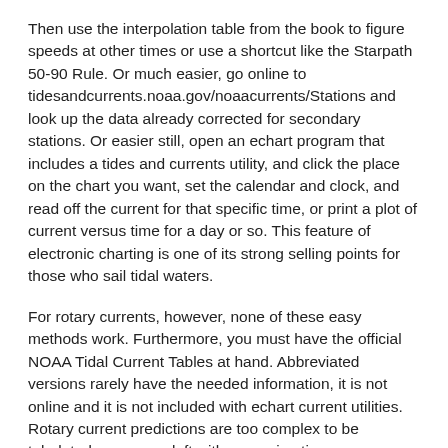Then use the interpolation table from the book to figure speeds at other times or use a shortcut like the Starpath 50-90 Rule. Or much easier, go online to tidesandcurrents.noaa.gov/noaacurrents/Stations and look up the data already corrected for secondary stations. Or easier still, open an echart program that includes a tides and currents utility, and click the place on the chart you want, set the calendar and clock, and read off the current for that specific time, or print a plot of current versus time for a day or so. This feature of electronic charting is one of its strong selling points for those who sail tidal waters.
For rotary currents, however, none of these easy methods work. Furthermore, you must have the official NOAA Tidal Current Tables at hand. Abbreviated versions rarely have the needed information, it is not online and it is not included with echart current utilities. Rotary current predictions are too complex to be tabulated, so we are left with approximations.
To show the process, we look just southwest of Cuttyhunk Island in Rhode Island Sound (Current station #749). A section of Table 5 from the Current Tables shows how this current rotates at this